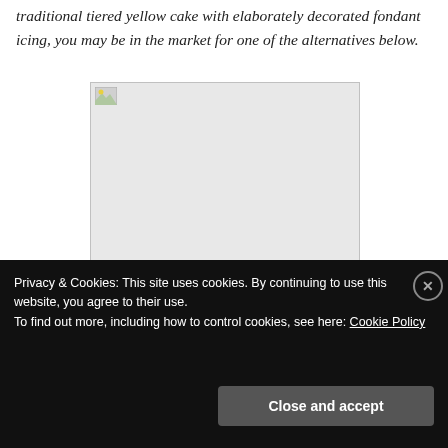traditional tiered yellow cake with elaborately decorated fondant icing, you may be in the market for one of the alternatives below.
[Figure (photo): Broken/missing image placeholder with a small broken image icon in the top-left corner, light gray background with a thin border.]
Privacy & Cookies: This site uses cookies. By continuing to use this website, you agree to their use.
To find out more, including how to control cookies, see here: Cookie Policy
Close and accept